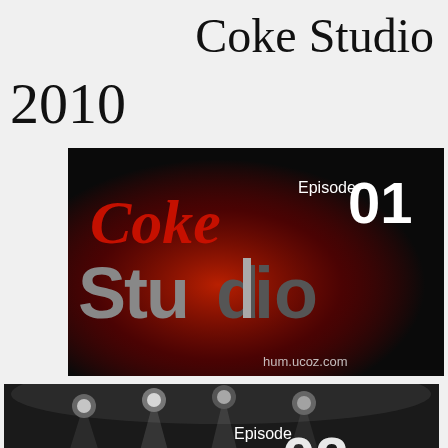Coke Studio
2010
[Figure (photo): Coke Studio Episode 01 thumbnail: dark background with red-lit 'Coke Studio' logo text, 'Episode 01' in white text top right, 'hum.ucoz.com' watermark at bottom]
[Figure (photo): Coke Studio Episode 02 thumbnail: black and white photo of stage lights and a vintage microphone on stand, 'Episode 02' in white text top right]